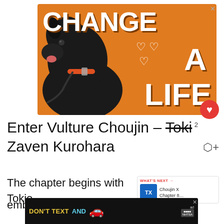[Figure (illustration): Orange advertisement banner with a black Labrador dog, text 'CHANGE A LIFE' in white bold letters with heart icons]
Enter Vulture Choujin – Toki Zaven Kurohara
The chapter begins with Tokio embraces the nature of a vulture and
[Figure (illustration): Bottom advertisement banner with black background, text 'DON'T TEXT AND' with a red car emoji, NHTSA branding]